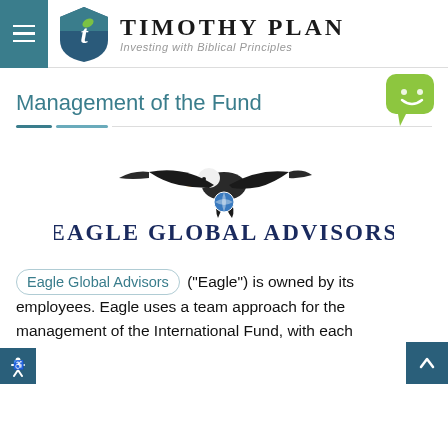TIMOTHY PLAN — Investing with Biblical Principles
Management of the Fund
[Figure (logo): Eagle Global Advisors logo — a bald eagle in flight above a globe, with text 'EAGLE GLOBAL ADVISORS' in dark navy serif capitals]
Eagle Global Advisors ("Eagle") is owned by its employees. Eagle uses a team approach for the management of the International Fund, with each